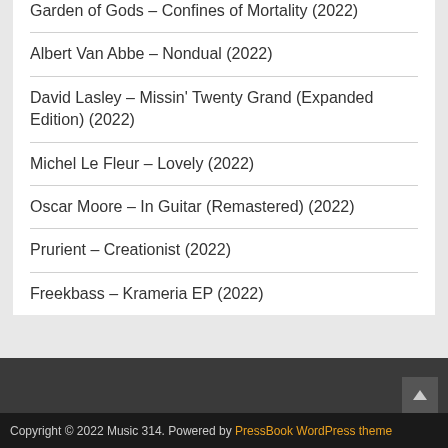Garden of Gods – Confines of Mortality (2022)
Albert Van Abbe – Nondual (2022)
David Lasley – Missin' Twenty Grand (Expanded Edition) (2022)
Michel Le Fleur – Lovely (2022)
Oscar Moore – In Guitar (Remastered) (2022)
Prurient – Creationist (2022)
Freekbass – Krameria EP (2022)
Copyright © 2022 Music 314. Powered by PressBook WordPress theme